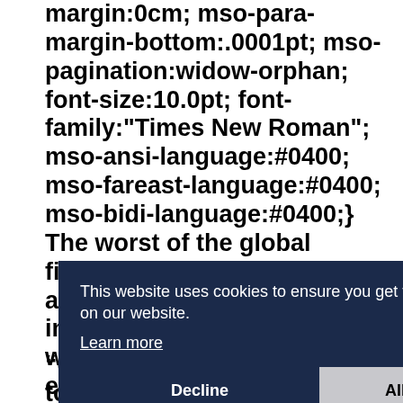margin:0cm; mso-para-margin-bottom:.0001pt; mso-pagination:widow-orphan; font-size:10.0pt; font-family:"Times New Roman"; mso-ansi-language:#0400; mso-fareast-language:#0400; mso-bidi-language:#0400;} The worst of the global financial crisis is yet to come and a large US bank will fail in the next few months as the world's biggest economy h e T
[Figure (screenshot): Cookie consent overlay on dark navy background. Text: 'This website uses cookies to ensure you get the best experience on our website.' with 'Learn more' link, and two buttons: 'Decline' and 'Allow cookies'.]
“ c further to say ‘the worst is to come,’ he told a